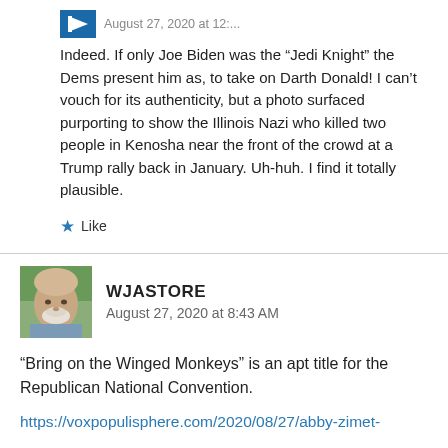[Figure (photo): Partial logo/avatar at top left corner, truncated]
August 27, 2020 at 12:... (partial timestamp, cut off)
Indeed. If only Joe Biden was the “Jedi Knight” the Dems present him as, to take on Darth Donald! I can’t vouch for its authenticity, but a photo surfaced purporting to show the Illinois Nazi who killed two people in Kenosha near the front of the crowd at a Trump rally back in January. Uh-huh. I find it totally plausible.
★ Like
[Figure (photo): Avatar/profile photo of WJASTORE user, older man with white beard]
WJASTORE
August 27, 2020 at 8:43 AM
“Bring on the Winged Monkeys” is an apt title for the Republican National Convention.
https://voxpopulisphere.com/2020/08/27/abby-zimet-